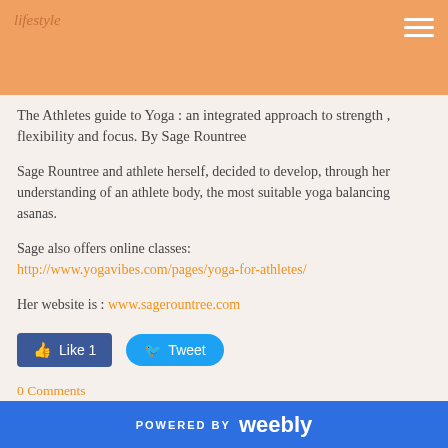lifestyle
The Athlete's guide to Yoga : an integrated approach to strength , flexibility and focus. By Sage Rountree
Sage Rountree and athlete herself, decided to develop, through her understanding of an athlete body, the most suitable yoga balancing asanas.
Sage also offers online classes:
http://www.yogavibes.com/pages/yoga-for-athletes/
Her website is : www.sagerountree.com
Like 1   Tweet
0 Comments
POWERED BY weebly